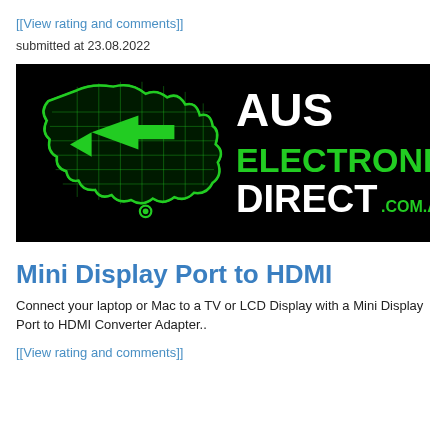[[View rating and comments]]
submitted at 23.08.2022
[Figure (logo): Aus Electronics Direct logo: black background with green Australia-shaped icon on left and white/green text 'AUS ELECTRONICS DIRECT.COM.AU' on right]
Mini Display Port to HDMI
Connect your laptop or Mac to a TV or LCD Display with a Mini Display Port to HDMI Converter Adapter..
[[View rating and comments]]